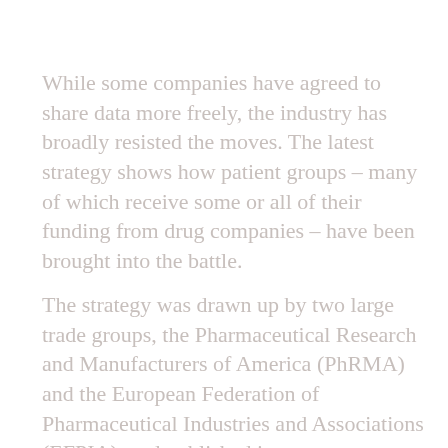While some companies have agreed to share data more freely, the industry has broadly resisted the moves. The latest strategy shows how patient groups – many of which receive some or all of their funding from drug companies – have been brought into the battle.
The strategy was drawn up by two large trade groups, the Pharmaceutical Research and Manufacturers of America (PhRMA) and the European Federation of Pharmaceutical Industries and Associations (EFPIA), and published in a memo to senior industry figures this month, according to an email seen by the Guardian.
The memo, from Richard Bergström, director general of EFPIA, went to directors and legal counsel at Roche, Merck, Pfizer, GSK, AstraZeneca, Eli Lilly, Novartis and